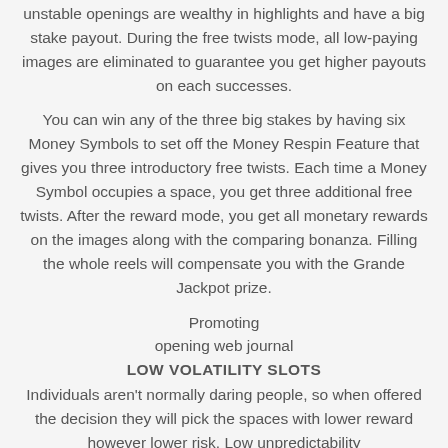unstable openings are wealthy in highlights and have a big stake payout. During the free twists mode, all low-paying images are eliminated to guarantee you get higher payouts on each successes.
You can win any of the three big stakes by having six Money Symbols to set off the Money Respin Feature that gives you three introductory free twists. Each time a Money Symbol occupies a space, you get three additional free twists. After the reward mode, you get all monetary rewards on the images along with the comparing bonanza. Filling the whole reels will compensate you with the Grande Jackpot prize.
Promoting
opening web journal
LOW VOLATILITY SLOTS
Individuals aren't normally daring people, so when offered the decision they will pick the spaces with lower reward however lower risk. Low unpredictability